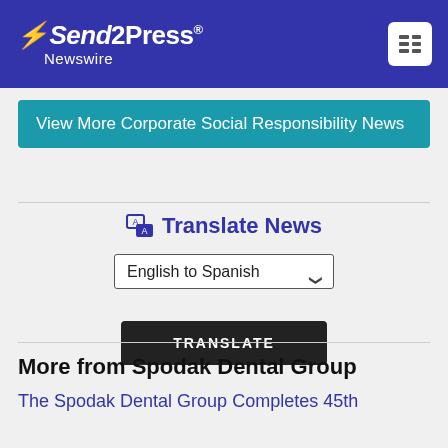Send2Press Newswire
View More Corporate Social Responsibility News
Translate News
English to Spanish
TRANSLATE
More from Spodak Dental Group
The Spodak Dental Group Completes 45th